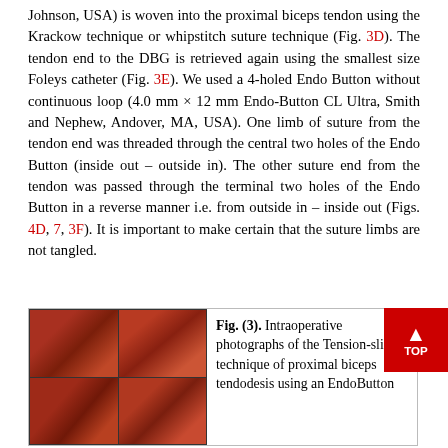Johnson, USA) is woven into the proximal biceps tendon using the Krackow technique or whipstitch suture technique (Fig. 3D). The tendon end to the DBG is retrieved again using the smallest size Foleys catheter (Fig. 3E). We used a 4-holed Endo Button without continuous loop (4.0 mm × 12 mm Endo-Button CL Ultra, Smith and Nephew, Andover, MA, USA). One limb of suture from the tendon end was threaded through the central two holes of the Endo Button (inside out – outside in). The other suture end from the tendon was passed through the terminal two holes of the Endo Button in a reverse manner i.e. from outside in – inside out (Figs. 4D, 7, 3F). It is important to make certain that the suture limbs are not tangled.
[Figure (photo): Intraoperative photographs of the Tension-slide technique of proximal biceps tendodesis using an EndoButton — a 2×2 grid of surgical photographs]
Fig. (3). Intraoperative photographs of the Tension-slide technique of proximal biceps tendodesis using an EndoButton